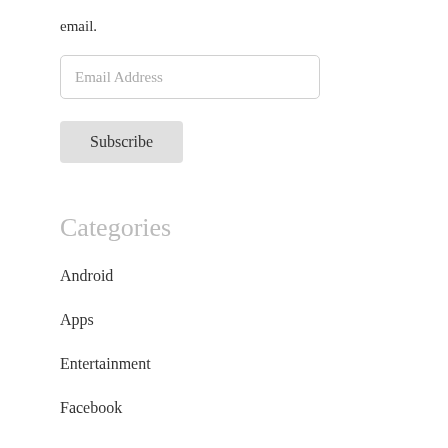email.
Email Address
Subscribe
Categories
Android
Apps
Entertainment
Facebook